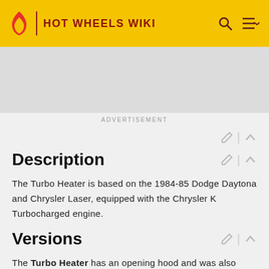HOT WHEELS WIKI
[Figure (other): Gray advertisement banner placeholder]
ADVERTISEMENT
Description
The Turbo Heater is based on the 1984-85 Dodge Daytona and Chrysler Laser, equipped with the Chrysler K Turbocharged engine.
Versions
The Turbo Heater has an opening hood and was also